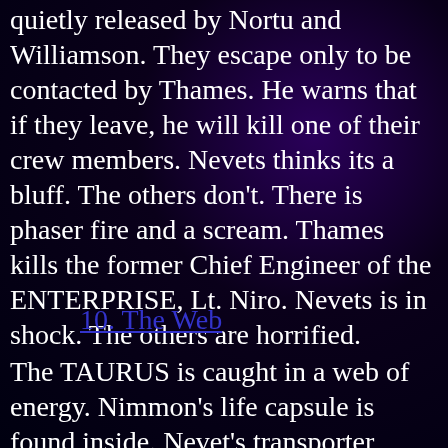quietly released by Nortu and Williamson. They escape only to be contacted by Thames.  He warns that if they leave, he will kill one of their crew members.  Nevets thinks its a bluff.  The others don't.  There is phaser fire and a scream.  Thames kills the former Chief Engineer of the ENTERPRISE, Lt. Niro.  Nevets is in shock.  The others are horrified.
10.  The Web
The TAURUS is caught in a web of energy.  Nimmon's life capsule is found inside.  Nevet's transporter accident end with him losing his eye and arm.  Collek repairs the arm with an artificial one and covers the eye with a patch.  While trapped in the web,